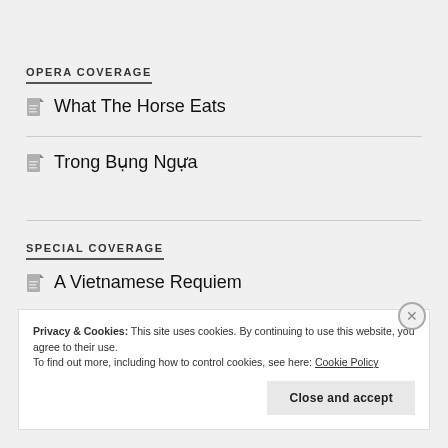OPERA COVERAGE
What The Horse Eats
Trong Bụng Ngựa
SPECIAL COVERAGE
A Vietnamese Requiem
Privacy & Cookies: This site uses cookies. By continuing to use this website, you agree to their use.
To find out more, including how to control cookies, see here: Cookie Policy
Close and accept